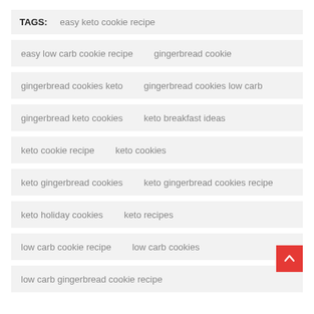TAGS: easy keto cookie recipe
easy low carb cookie recipe
gingerbread cookie
gingerbread cookies keto
gingerbread cookies low carb
gingerbread keto cookies
keto breakfast ideas
keto cookie recipe
keto cookies
keto gingerbread cookies
keto gingerbread cookies recipe
keto holiday cookies
keto recipes
low carb cookie recipe
low carb cookies
low carb gingerbread cookie recipe